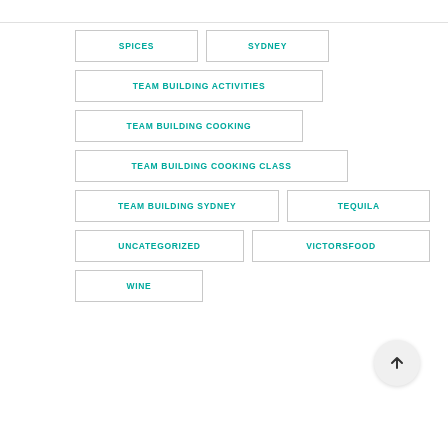SPICES
SYDNEY
TEAM BUILDING ACTIVITIES
TEAM BUILDING COOKING
TEAM BUILDING COOKING CLASS
TEAM BUILDING SYDNEY
TEQUILA
UNCATEGORIZED
VICTORSFOOD
WINE
[Figure (illustration): Scroll-to-top button: circular grey button with an upward-pointing arrow icon]